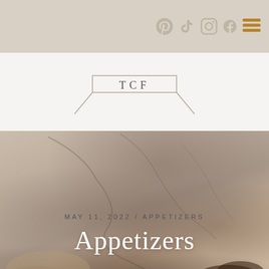Social media icons: Pinterest, TikTok, Instagram, Facebook, Menu
[Figure (logo): TCF logo - text letters T C F inside a rectangular frame with angled legs resembling a table]
[Figure (photo): Hero banner photo showing marble surface with oats/grains, coffee grounds, and a small bowl - warm beige and brown tones with the word Appetizers overlaid in white serif text]
MAY 11, 2022 / APPETIZERS